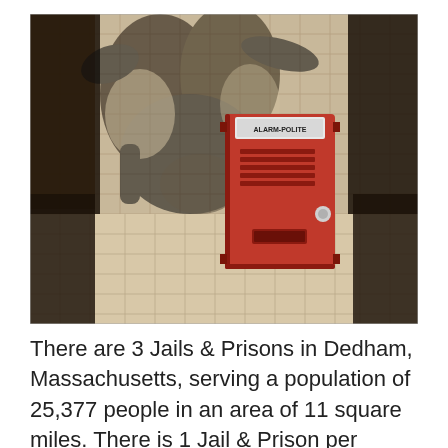[Figure (photo): A red alarm/police call box mounted on a tiled wall with black and white graffiti/mural in the background. The box has a label reading 'ALARM-POLITE' or similar. There are dark-framed windows visible on the sides.]
There are 3 Jails & Prisons in Dedham, Massachusetts, serving a population of 25,377 people in an area of 11 square miles. There is 1 Jail & Prison per 8,459 people, and 1 Jail & Prison per 3 square miles. In Massachusetts, Dedham is ranked